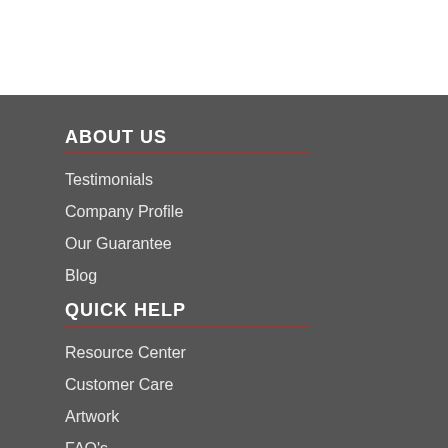ABOUT US
Testimonials
Company Profile
Our Guarantee
Blog
QUICK HELP
Resource Center
Customer Care
Artwork
FAQ's